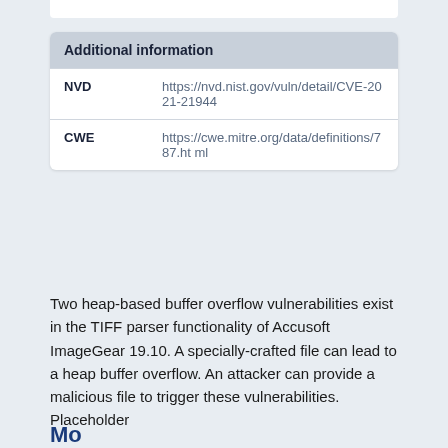| Additional information |  |
| --- | --- |
| NVD | https://nvd.nist.gov/vuln/detail/CVE-2021-21944 |
| CWE | https://cwe.mitre.org/data/definitions/787.html |
Two heap-based buffer overflow vulnerabilities exist in the TIFF parser functionality of Accusoft ImageGear 19.10. A specially-crafted file can lead to a heap buffer overflow. An attacker can provide a malicious file to trigger these vulnerabilities. Placeholder